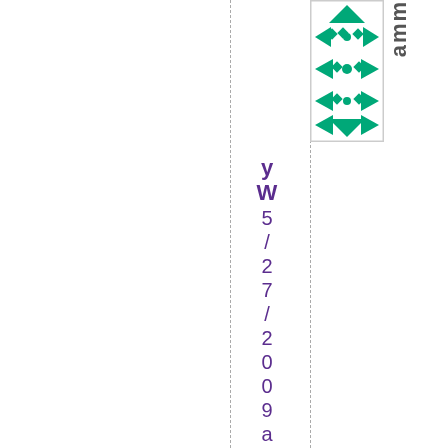[Figure (logo): Teal/green geometric quilt-pattern logo square with triangles, diamonds and arrows in a symmetrical pattern]
amm
yW 5/27/2009 at 9:13am. Re